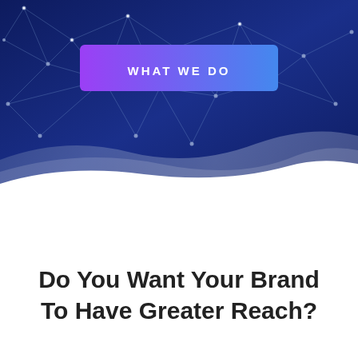[Figure (illustration): Dark blue network/technology background with connected nodes and lines, with a curved wave transition to white at the bottom. A gradient purple-to-blue button labeled 'WHAT WE DO' is centered in the upper portion.]
Do You Want Your Brand To Have Greater Reach?